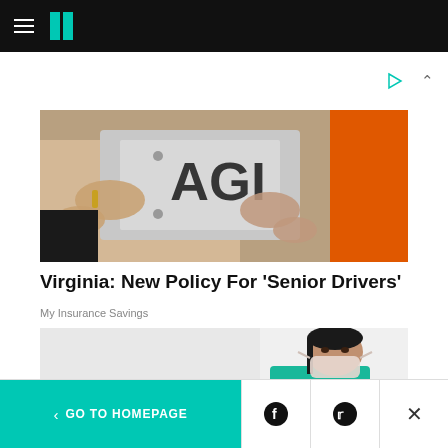HuffPost navigation bar with hamburger menu and logo
[Figure (photo): Person holding a license plate in front of an orange vehicle]
Virginia: New Policy For 'Senior Drivers'
My Insurance Savings
[Figure (photo): Healthcare worker wearing a face mask and green scrubs, leaning against a white wall]
< GO TO HOMEPAGE | Facebook | Twitter | X (close)